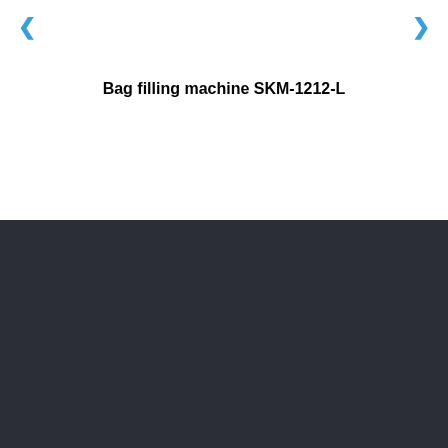< >
Bag filling machine SKM-1212-L
Contact info
12 km of Karaj-Qazvin highway after Kordan bridge-Karaj-Tehran-Iran
+982644526601-5
info@sanatkaranco.com